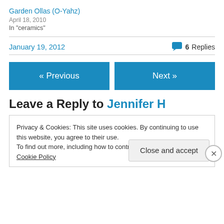Garden Ollas (O-Yahz)
April 18, 2010
In "ceramics"
January 19, 2012
6 Replies
« Previous
Next »
Leave a Reply to Jennifer H
Privacy & Cookies: This site uses cookies. By continuing to use this website, you agree to their use.
To find out more, including how to control cookies, see here: Cookie Policy
Close and accept